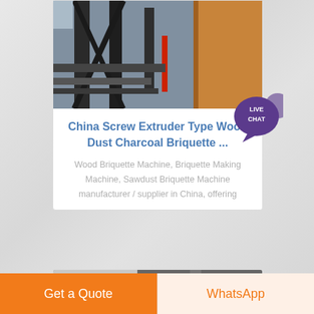[Figure (photo): Industrial screw extruder / briquette machine metal frame with wooden block, dark metal structure]
China Screw Extruder Type Wood Dust Charcoal Briquette ...
Wood Briquette Machine, Briquette Making Machine, Sawdust Briquette Machine manufacturer / supplier in China, offering
[Figure (photo): Black and white photo of briquette machine industrial equipment]
Get a Quote
WhatsApp